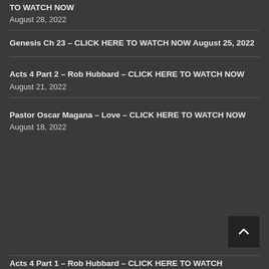TO WATCH NOW
August 28, 2022
Genesis Ch 23 – CLICK HERE TO WATCH NOW August 25, 2022
Acts 4 Part 2 – Rob Hubbard – CLICK HERE TO WATCH NOW
August 21, 2022
Pastor Oscar Magana – Love – CLICK HERE TO WATCH NOW
August 18, 2022
Acts 4 Part 1 – Rob Hubbard – CLICK HERE TO WATCH